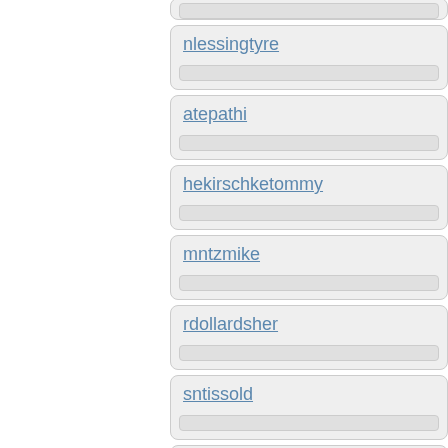(partial card top)
nlessingtyre
atepathi
hekirschketommy
mntzmike
rdollardsher
sntissold
nieivesonstefa
(partial card bottom)